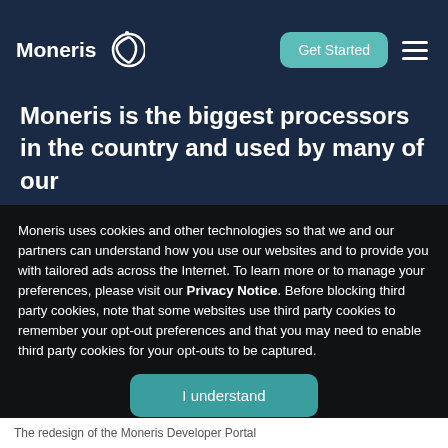Moneris | Get Started
Moneris is the biggest processors in the country and used by many of our
Moneris uses cookies and other technologies so that we and our partners can understand how you use our websites and to provide you with tailored ads across the Internet. To learn more or to manage your preferences, please visit our Privacy Notice. Before blocking third party cookies, note that some websites use third party cookies to remember your opt-out preferences and that you may need to enable third party cookies for your opt-outs to be captured.
I understand
The redesign of the Moneris Developer Portal